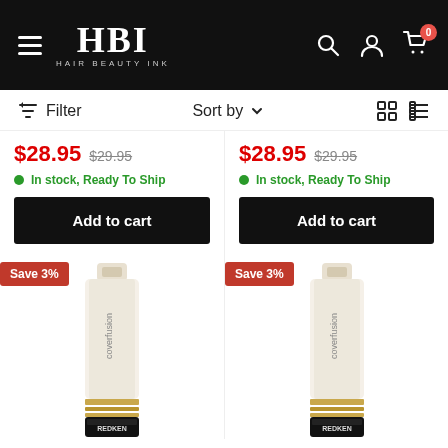HBI HAIR BEAUTY INK
Filter | Sort by | grid/list toggle
$28.95  $29.95
In stock, Ready To Ship
Add to cart
$28.95  $29.95
In stock, Ready To Ship
Add to cart
[Figure (photo): Redken Coverfusion hair product tube with Save 3% badge (left column)]
[Figure (photo): Redken Coverfusion hair product tube with Save 3% badge (right column)]